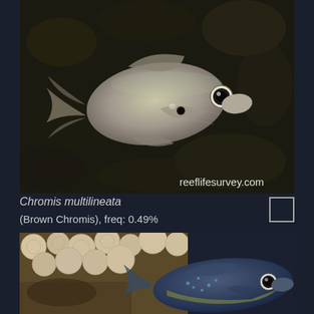[Figure (photo): Underwater photograph of Chromis multilineata (Brown Chromis) fish against a blurred reef background. The fish is silver-grey with a rounded body, large eye, and forked tail. Watermark reads reeflifesurvey.com in the lower right corner.]
Chromis multilineata
(Brown Chromis), freq: 0.49%
[Figure (photo): Underwater photograph of a dark blue/grey fish with yellow markings and spots, swimming near coral reef with round coral formations visible in the background.]